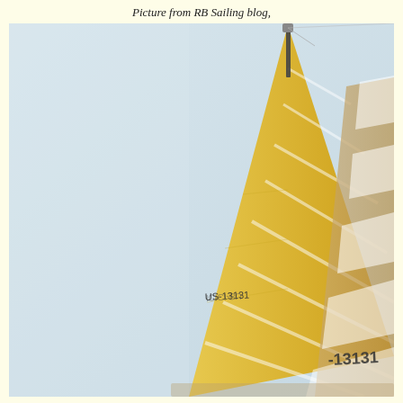Picture from RB Sailing blog,
[Figure (photo): Close-up photograph of a yellow sailing sail with horizontal stripe pattern and the text 'US-13131' printed on it, set against a pale blue-grey sky background. The mast extends to the top of the image.]